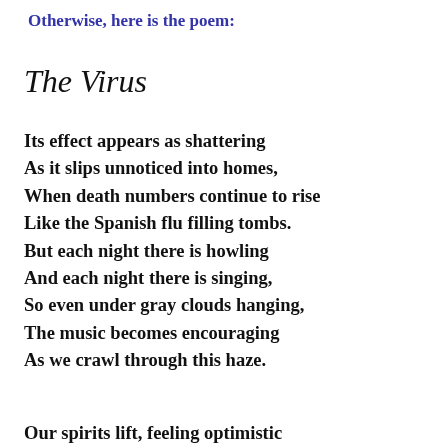Otherwise, here is the poem:
The Virus
Its effect appears as shattering
As it slips unnoticed into homes,
When death numbers continue to rise
Like the Spanish flu filling tombs.
But each night there is howling
And each night there is singing,
So even under gray clouds hanging,
The music becomes encouraging
As we crawl through this haze.
Our spirits lift, feeling optimistic